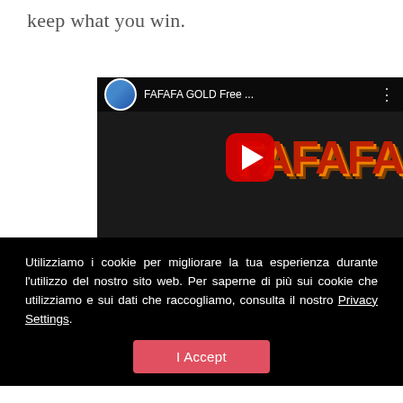keep what you win.
[Figure (screenshot): YouTube video thumbnail showing 'FAFAFA GOLD Free ...' with a play button overlay, a circular avatar of a person in top-left, and colorful FAFAFA slot game imagery in the background.]
Utilizziamo i cookie per migliorare la tua esperienza durante l'utilizzo del nostro sito web. Per saperne di più sui cookie che utilizziamo e sui dati che raccogliamo, consulta il nostro Privacy Settings.
I Accept